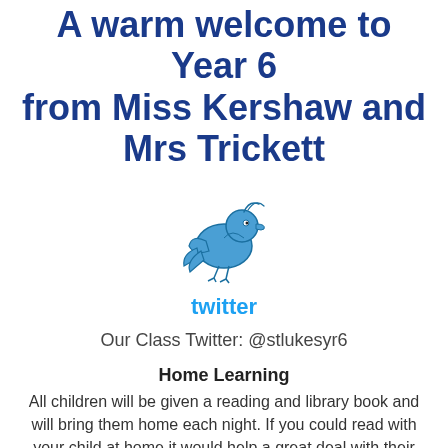A warm welcome to Year 6 from Miss Kershaw and Mrs Trickett
[Figure (logo): Twitter bird logo in blue outline style]
twitter
Our Class Twitter: @stlukesyr6
Home Learning
All children will be given a reading and library book and will bring them home each night. If you could read with your child at home it would help a great deal with their progress and if you could indicate